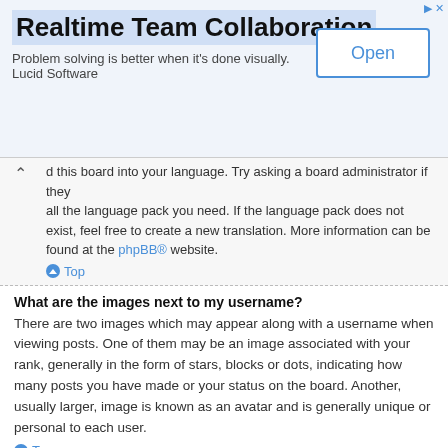[Figure (other): Advertisement banner for Realtime Team Collaboration by Lucid Software with an Open button]
d this board into your language. Try asking a board administrator if they all the language pack you need. If the language pack does not exist, feel free to create a new translation. More information can be found at the phpBB® website.
Top
What are the images next to my username?
There are two images which may appear along with a username when viewing posts. One of them may be an image associated with your rank, generally in the form of stars, blocks or dots, indicating how many posts you have made or your status on the board. Another, usually larger, image is known as an avatar and is generally unique or personal to each user.
Top
How do I display an avatar?
Within your User Control Panel, under “Profile” you can add an avatar by using one of the four following methods: Gravatar, Gallery, Remote or Upload. It is up to the board administrator to enable avatars and to choose the way in which avatars can be made available. If you are unable to use avatars, contact a board administrator.
Top